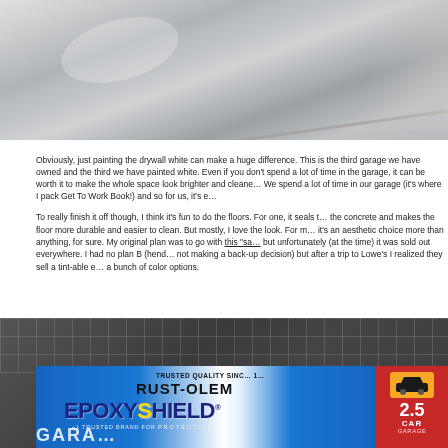[Figure (photo): Close-up photo of a gray concrete garage floor surface showing texture, slight sheen, and expansion joint line in lower right area.]
Obviously, just painting the drywall white can make a huge difference. This is the third garage we have owned and the third we have painted white. Even if you don't spend a lot of time in the garage, it can be worth it to make the whole space look brighter and cleaner. We spend a lot of time in our garage (it's where I pack Get To Work Book!) and so for us, it's e…
To really finish it off though, I think it's fun to do the floors. For one, it seals the concrete and makes the floor more durable and easier to clean. But mostly, I love the look. For m… it's an aesthetic choice more than anything, for sure. My original plan was to go with this "sa…" but unfortunately (at the time) it was sold out everywhere. I had no plan B (hence… not making a back-up decision) but after a trip to Lowe's I realized they sell a tint-able epoxy floor with a bunch of color options.
[Figure (photo): Photo of a Rust-Oleum EpoxyShield garage floor coating product box on a store shelf. The box is blue and white with red accents, showing the brand name RUST-OLEUM and product name EPOXYSHIELD with '#1 TRUSTED BRAND FOR PROTECTION'. A red panel on the right shows 2.5 CAR GARAGE sizing information.]